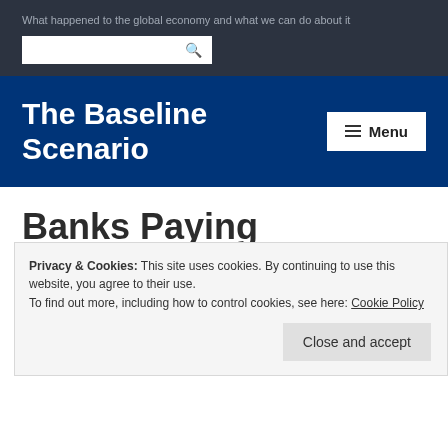What happened to the global economy and what we can do about it
The Baseline Scenario
Banks Paying Customers to Take Overdraft Protection
Privacy & Cookies: This site uses cookies. By continuing to use this website, you agree to their use. To find out more, including how to control cookies, see here: Cookie Policy